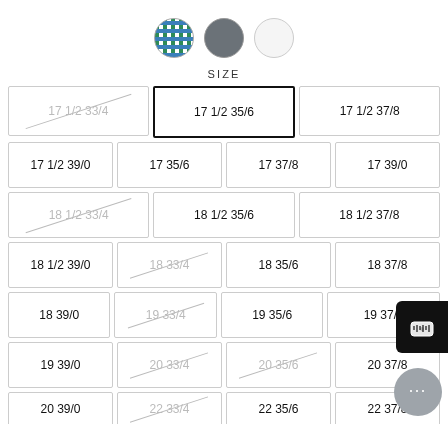[Figure (other): Three color swatches: plaid (teal/navy), dark gray, white]
SIZE
| 17 1/2 33/4 (unavailable) | 17 1/2 35/6 (selected) | 17 1/2 37/8 |
| 17 1/2 39/0 | 17 35/6 | 17 37/8 | 17 39/0 |
| 18 1/2 33/4 (unavailable) | 18 1/2 35/6 | 18 1/2 37/8 |
| 18 1/2 39/0 | 18 33/4 (unavailable) | 18 35/6 | 18 37/8 |
| 18 39/0 | 19 33/4 (unavailable) | 19 35/6 | 19 37/8 |
| 19 39/0 | 20 33/4 (unavailable) | 20 35/6 (unavailable) | 20 37/8 |
| 20 39/0 | 22 33/4 (unavailable) | 22 35/6 | 22 37/8 |